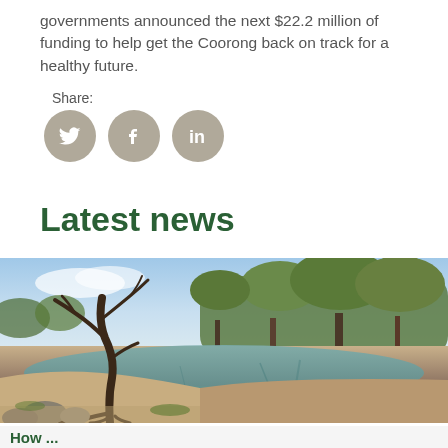governments announced the next $22.2 million of funding to help get the Coorong back on track for a healthy future.
Share:
[Figure (illustration): Three social media share icons (Twitter, Facebook, LinkedIn) as white icons on taupe/grey circular backgrounds]
Latest news
[Figure (photo): Landscape photo of a river or billabong scene with a bare twisted tree in the foreground, calm reflective water, sandy banks, and eucalyptus trees under a blue sky with clouds]
How...